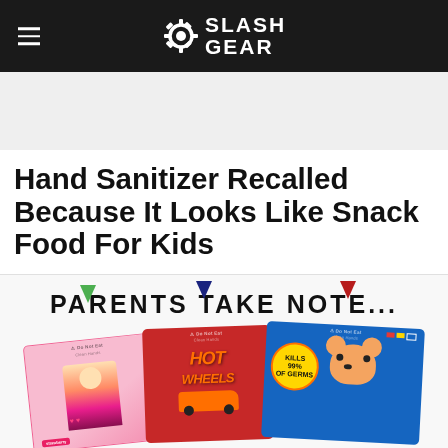SlashGear
Hand Sanitizer Recalled Because It Looks Like Snack Food For Kids
[Figure (photo): Recalled hand sanitizer packets designed to look like children's snack food packaging, with three colorful packets shown: pink (girl-themed), red (Hot Wheels themed), and blue (PAW Patrol themed). Each packet has a 'Do Not Eat' label and a colored arrow pointing down. Text overlay reads 'PARENTS TAKE NOTE...']